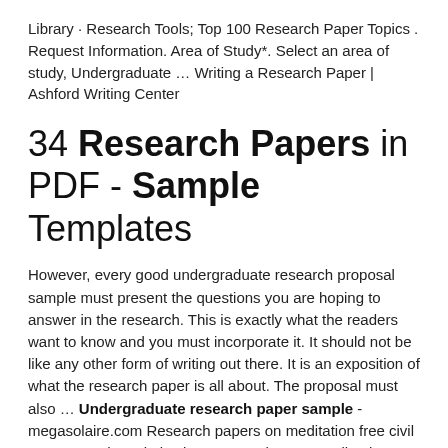Library · Research Tools; Top 100 Research Paper Topics . Request Information. Area of Study*. Select an area of study, Undergraduate … Writing a Research Paper | Ashford Writing Center
34 Research Papers in PDF - Sample Templates
However, every good undergraduate research proposal sample must present the questions you are hoping to answer in the research. This is exactly what the readers want to know and you must incorporate it. It should not be like any other form of writing out there. It is an exposition of what the research paper is all about. The proposal must also … Undergraduate research paper sample - megasolaire.com Research papers on meditation free civil war essays how do i write a research paper outline how to create assignment in j frame online quiz by using if else hays travel homeworking reviews business ethics assignment ideas quantitative research proposal example